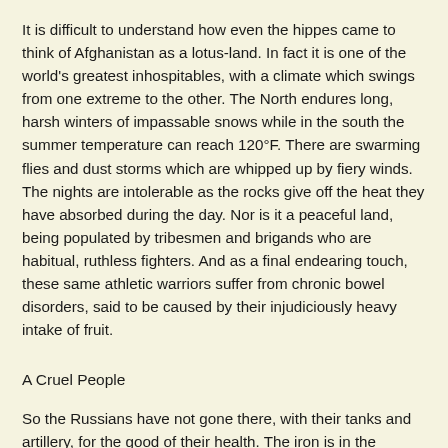It is difficult to understand how even the hippes came to think of Afghanistan as a lotus-land. In fact it is one of the world's greatest inhospitables, with a climate which swings from one extreme to the other. The North endures long, harsh winters of impassable snows while in the south the summer temperature can reach 120°F. There are swarming flies and dust storms which are whipped up by fiery winds. The nights are intolerable as the rocks give off the heat they have absorbed during the day. Nor is it a peaceful land, being populated by tribesmen and brigands who are habitual, ruthless fighters. And as a final endearing touch, these same athletic warriors suffer from chronic bowel disorders, said to be caused by their injudiciously heavy intake of fruit.
A Cruel People
So the Russians have not gone there, with their tanks and artillery, for the good of their health. The iron is in the